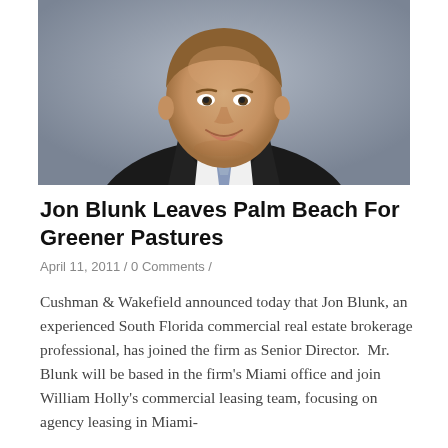[Figure (photo): Professional headshot of a man in a dark suit and tie, smiling, against a gray background.]
Jon Blunk Leaves Palm Beach For Greener Pastures
April 11, 2011 / 0 Comments /
Cushman & Wakefield announced today that Jon Blunk, an experienced South Florida commercial real estate brokerage professional, has joined the firm as Senior Director. Mr. Blunk will be based in the firm's Miami office and join William Holly's commercial leasing team, focusing on agency leasing in Miami-